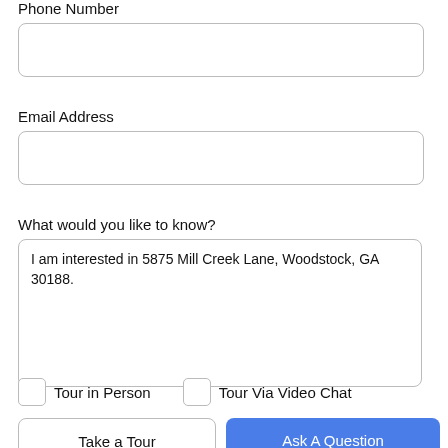Phone Number
Email Address
What would you like to know?
I am interested in 5875 Mill Creek Lane, Woodstock, GA 30188.
Tour in Person
Tour Via Video Chat
Take a Tour
Ask A Question